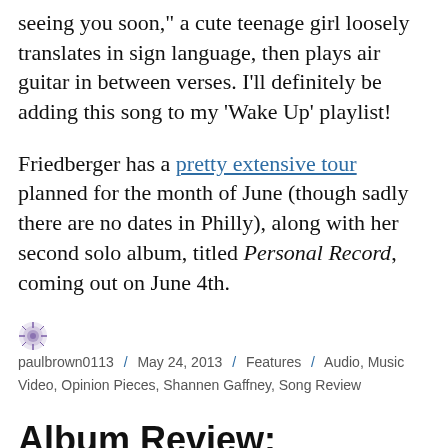seeing you soon," a cute teenage girl loosely translates in sign language, then plays air guitar in between verses. I'll definitely be adding this song to my 'Wake Up' playlist!
Friedberger has a pretty extensive tour planned for the month of June (though sadly there are no dates in Philly), along with her second solo album, titled Personal Record, coming out on June 4th.
paulbrown0113 / May 24, 2013 / Features / Audio, Music Video, Opinion Pieces, Shannen Gaffney, Song Review
Album Review: Langsom